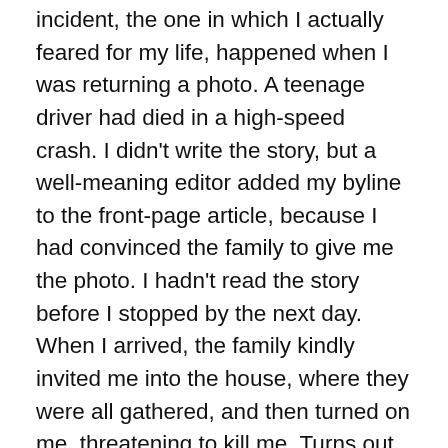incident, the one in which I actually feared for my life, happened when I was returning a photo. A teenage driver had died in a high-speed crash. I didn't write the story, but a well-meaning editor added my byline to the front-page article, because I had convinced the family to give me the photo. I hadn't read the story before I stopped by the next day. When I arrived, the family kindly invited me into the house, where they were all gathered, and then turned on me, threatening to kill me. Turns out, the reporter had led off the story with a litany of this kid's speeding tickets, giving the impression that he deserved to die. My name was also on the story, so they blamed me. I tried to explain, but they were yelling and yanking me down the stairs into the basement. Another family member rescued me, only to threaten me himself on the front lawn. It was terrifying, but I don't blame the family. The kid was dead. The article was essentially written. The...